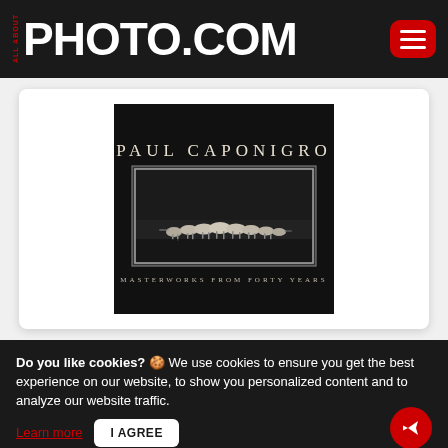ALL ABOUT PHOTO.COM
[Figure (photo): Book cover for 'Paul Caponigro: Masterworks from Forty Years' — black cover with serif author name at top and a black-and-white photograph of a herd of animals (horses/deer) running across a dark landscape, with subtitle in spaced capitals at bottom]
Do you like cookies? 🍪 We use cookies to ensure you get the best experience on our website, to show you personalized content and to analyze our website traffic.
Learn more   I AGREE